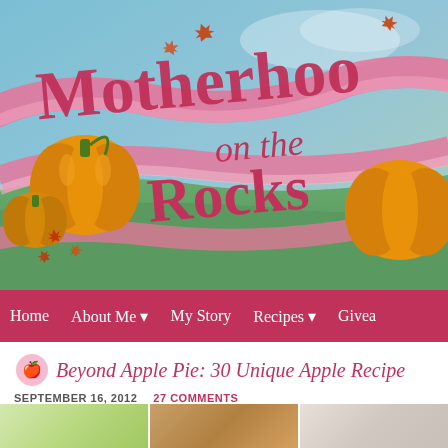[Figure (illustration): Motherhood on the Rocks blog header banner with pink cursive script logo, autumn pumpkins, falling maple leaves in orange/red, pink ribbon swirls, and sky/green landscape background]
Home   About Me ▾   My Story   Recipes ▾   Givea...
Beyond Apple Pie: 30 Unique Apple Recipe
SEPTEMBER 16, 2012   27 COMMENTS
[Figure (photo): Three partial food/recipe photos at the bottom of the page showing green/colorful dish, brown baked good, and light colored dish]